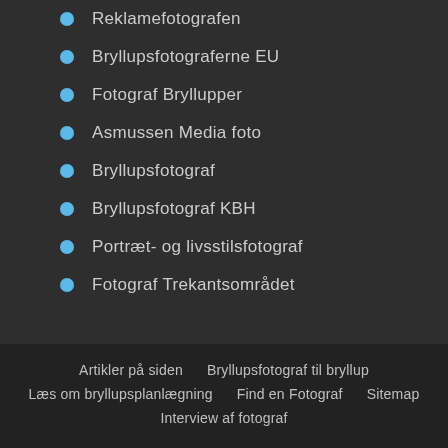Reklamefotografen
Bryllupsfotograferne EU
Fotograf Bryllupper
Asmussen Media foto
Bryllupsfotograf
Bryllupsfotograf KBH
Portræt- og livsstilsfotograf
Fotograf Trekantsområdet
Artikler på siden   Bryllupsfotograf til bryllup   Læs om bryllupsplanlægning   Find en Fotograf   Sitemap   Interview af fotograf